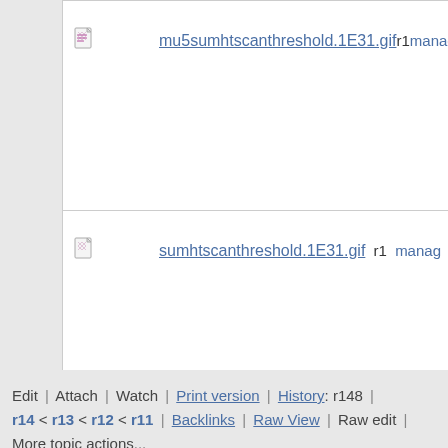mu5sumhtscanthreshold.1E31.gif  r1  manage
sumhtscanthreshold.1E31.gif  r1  manage
Edit | Attach | Watch | Print version | History: r148 | r14 < r13 < r12 < r11 | Backlinks | Raw View | Raw edit | More topic actions...